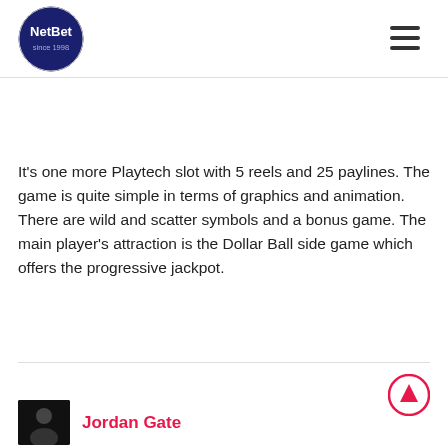NetBet since 1998
It's one more Playtech slot with 5 reels and 25 paylines. The game is quite simple in terms of graphics and animation. There are wild and scatter symbols and a bonus game. The main player's attraction is the Dollar Ball side game which offers the progressive jackpot.
Jordan Gate